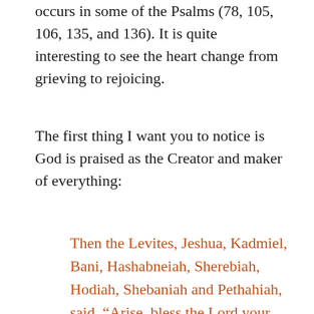occurs in some of the Psalms (78, 105, 106, 135, and 136). It is quite interesting to see the heart change from grieving to rejoicing.
The first thing I want you to notice is God is praised as the Creator and maker of everything:
Then the Levites, Jeshua, Kadmiel, Bani, Hashabneiah, Sherebiah, Hodiah, Shebaniah and Pethahiah, said, “Arise, bless the Lord your God forever and ever! O may Your glorious name be blessed And exalted above all blessing